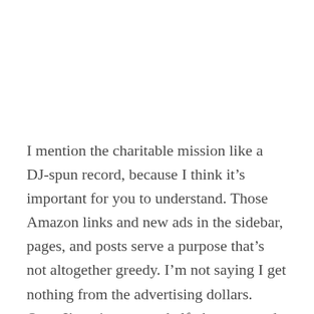I mention the charitable mission like a DJ-spun record, because I think it's important for you to understand. Those Amazon links and new ads in the sidebar, pages, and posts serve a purpose that's not altogether greedy. I'm not saying I get nothing from the advertising dollars. Once I've given away half, then covered my expenses, I expect there will be something leftover for my